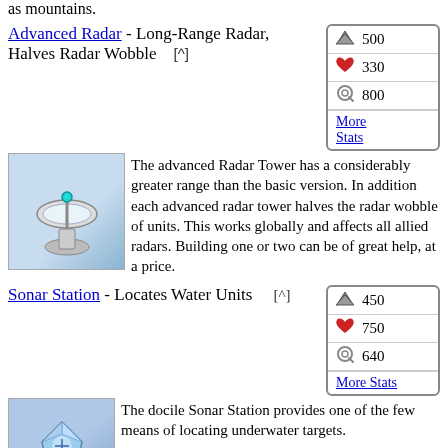as mountains.
Advanced Radar - Long-Range Radar, Halves Radar Wobble [^]
| Icon | Value |
| --- | --- |
| metal | 500 |
| heart | 330 |
| sight | 800 |
| More Stats |  |
[Figure (photo): Advanced Radar tower unit image]
The advanced Radar Tower has a considerably greater range than the basic version. In addition each advanced radar tower halves the radar wobble of units. This works globally and affects all allied radars. Building one or two can be of great help, at a price.
Sonar Station - Locates Water Units [^]
| Icon | Value |
| --- | --- |
| metal | 450 |
| heart | 750 |
| sight | 640 |
| More Stats |  |
[Figure (photo): Sonar Station unit image]
The docile Sonar Station provides one of the few means of locating underwater targets.
Sneaky Pete - Area Cloaker/Jammer [^]
| Icon | Value |
| --- | --- |
| metal | 420 |
| heart | 700 |
[Figure (photo): Sneaky Pete unit image]